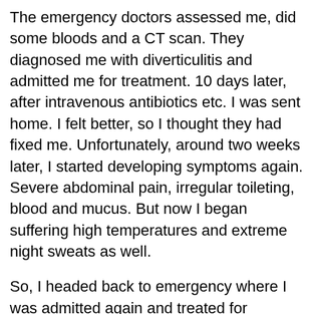The emergency doctors assessed me, did some bloods and a CT scan. They diagnosed me with diverticulitis and admitted me for treatment. 10 days later, after intravenous antibiotics etc. I was sent home. I felt better, so I thought they had fixed me. Unfortunately, around two weeks later, I started developing symptoms again. Severe abdominal pain, irregular toileting, blood and mucus. But now I began suffering high temperatures and extreme night sweats as well.
So, I headed back to emergency where I was admitted again and treated for diverticulitis again. Two weeks later I was sent home again, but this time I didn't feel so good. In fact, while I was waiting in the discharge area my temperature